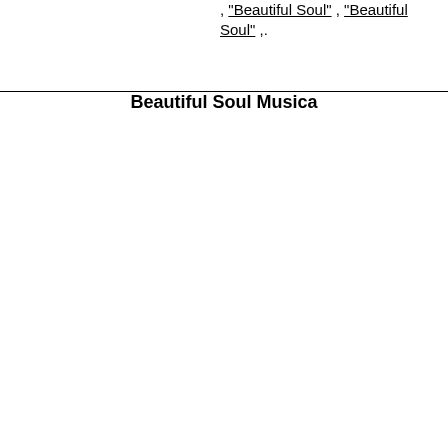, "Beautiful Soul" , "Beautiful Soul" ,.
Beautiful Soul Musica